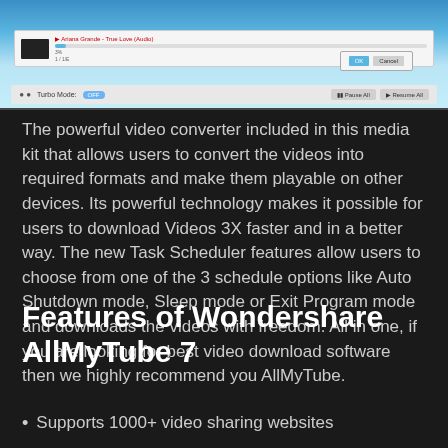[Figure (screenshot): Screenshot of AllMyTube video download software interface showing a download in progress for 'Ariana Grande - True Love (Audio)' with a progress bar at 3%, turbo mode toggle, and pause/resume all buttons.]
The powerful video converter included in this media kit that allows users to convert the videos into required formats and make them playable on other devices. Its powerful technology makes it possible for users to download Videos 3X faster and in a better way. The new Task Scheduler features allow users to choose from one of the 3 schedule options like Auto Shutdown mode, Sleep mode or Exit Program mode and downloads the videos with freedom. All in one, if you are looking for best video download software then we highly recommend you AllMyTube.
Features of Wondershare AllMyTube 7
Supports 1000+ video sharing websites